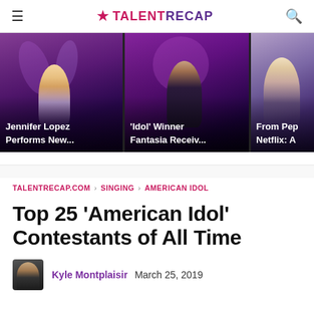TALENTRECAP
[Figure (photo): Three image cards: Jennifer Lopez Performs New..., 'Idol' Winner Fantasia Receiv..., From Pep Netflix: A]
Jennifer Lopez Performs New...
'Idol' Winner Fantasia Receiv...
From Pep Netflix: A
TALENTRECAP.COM > SINGING > AMERICAN IDOL
Top 25 'American Idol' Contestants of All Time
Kyle Montplaisir  March 25, 2019